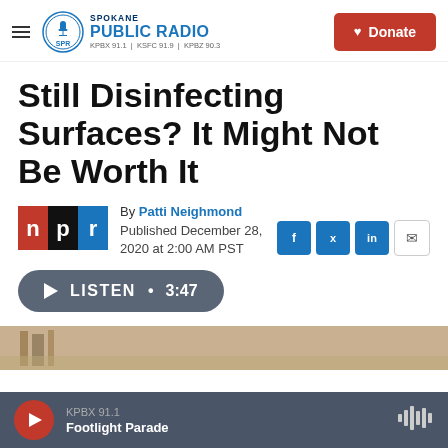Spokane Public Radio — KPBX 91.1 | KSFC 91.9 | KPBZ 90.3 — Donate
Still Disinfecting Surfaces? It Might Not Be Worth It
By Patti Neighmond
Published December 28, 2020 at 2:00 AM PST
[Figure (other): LISTEN • 3:47 audio player button]
[Figure (photo): Partial photo strip at bottom of article]
KPBX 91.1 — Footlight Parade (player bar)